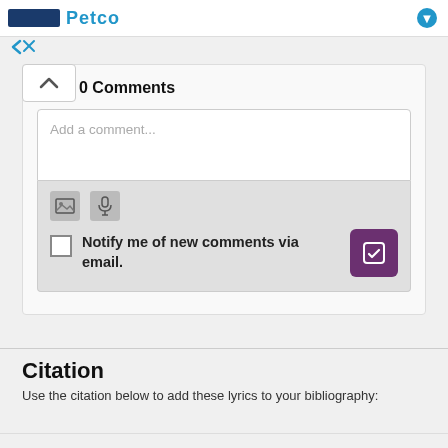Petco
0 Comments
Add a comment...
Notify me of new comments via email.
Citation
Use the citation below to add these lyrics to your bibliography: